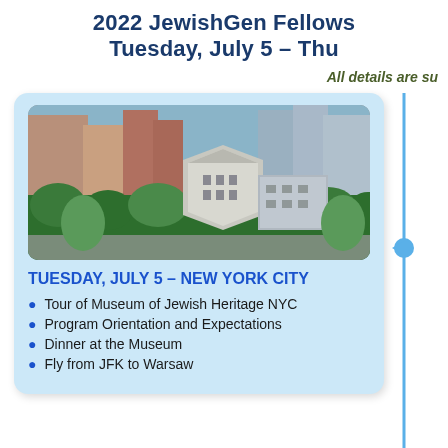2022 JewishGen Fellows — Tuesday, July 5 – Thu
All details are su
[Figure (photo): Aerial view of the Museum of Jewish Heritage in New York City, showing the hexagonal building surrounded by trees and other buildings.]
TUESDAY, JULY 5 – NEW YORK CITY
Tour of Museum of Jewish Heritage NYC
Program Orientation and Expectations
Dinner at the Museum
Fly from JFK to Warsaw